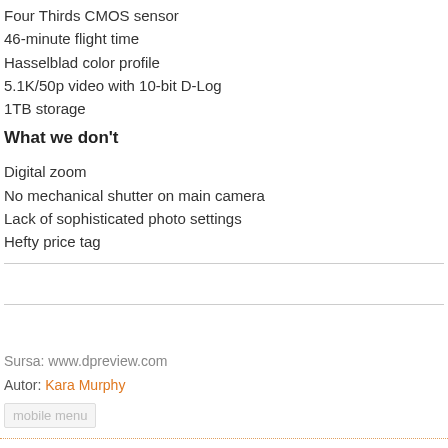Four Thirds CMOS sensor
46-minute flight time
Hasselblad color profile
5.1K/50p video with 10-bit D-Log
1TB storage
What we don't
Digital zoom
No mechanical shutter on main camera
Lack of sophisticated photo settings
Hefty price tag
Sursa: www.dpreview.com
Autor: Kara Murphy
mobile menu